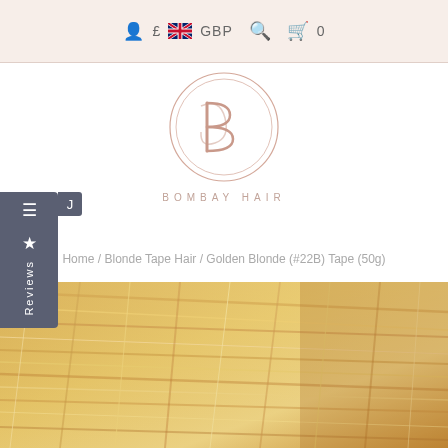£ GBP  🔍  🛒 0
[Figure (logo): Bombay Hair logo — circular border with stylized 'B' letterform in rose-gold color, brand name 'BOMBAY HAIR' in spaced caps below]
Home / Blonde Tape Hair / Golden Blonde (#22B) Tape (50g)
[Figure (photo): Close-up photo of golden blonde hair extensions showing silky, straight hair strands in warm golden blonde color (#22B)]